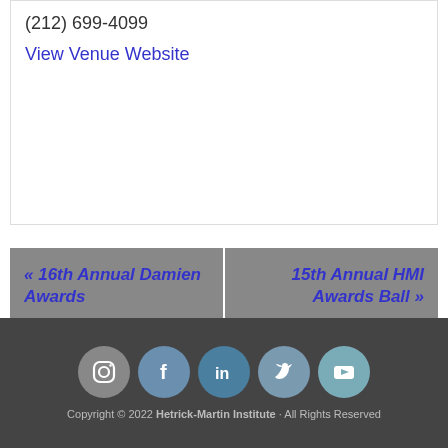(212) 699-4099
View Venue Website
« 16th Annual Damien Awards
15th Annual HMI Awards Ball »
[Figure (infographic): Social media icons: Instagram, Facebook, LinkedIn, Twitter, YouTube — white icons on circular colored backgrounds]
Copyright © 2022 Hetrick-Martin Institute · All Rights Reserved